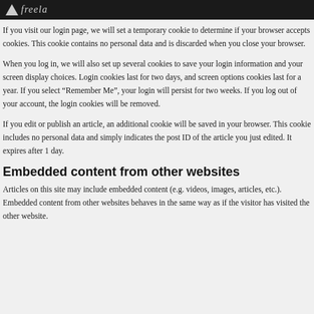freela
If you visit our login page, we will set a temporary cookie to determine if your browser accepts cookies. This cookie contains no personal data and is discarded when you close your browser.
When you log in, we will also set up several cookies to save your login information and your screen display choices. Login cookies last for two days, and screen options cookies last for a year. If you select “Remember Me”, your login will persist for two weeks. If you log out of your account, the login cookies will be removed.
If you edit or publish an article, an additional cookie will be saved in your browser. This cookie includes no personal data and simply indicates the post ID of the article you just edited. It expires after 1 day.
Embedded content from other websites
Articles on this site may include embedded content (e.g. videos, images, articles, etc.). Embedded content from other websites behaves in the same way as if the visitor has visited the other website.